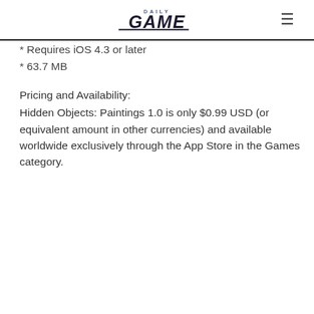DAILY GAME
* Requires iOS 4.3 or later
* 63.7 MB
Pricing and Availability:
Hidden Objects: Paintings 1.0 is only $0.99 USD (or equivalent amount in other currencies) and available worldwide exclusively through the App Store in the Games category.